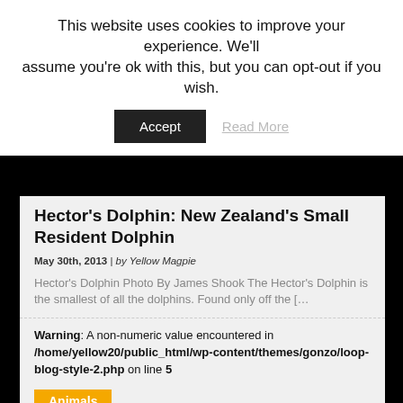This website uses cookies to improve your experience. We'll assume you're ok with this, but you can opt-out if you wish.
Accept | Read More
Hector's Dolphin: New Zealand's Small Resident Dolphin
May 30th, 2013 | by Yellow Magpie
Hector's Dolphin Photo By James Shook The Hector's Dolphin is the smallest of all the dolphins. Found only off the [&hellip
Warning: A non-numeric value encountered in /home/yellow20/public_html/wp-content/themes/gonzo/loop-blog-style-2.php on line 5
Animals
[Figure (photo): Placeholder image with camera icon for Animals category]